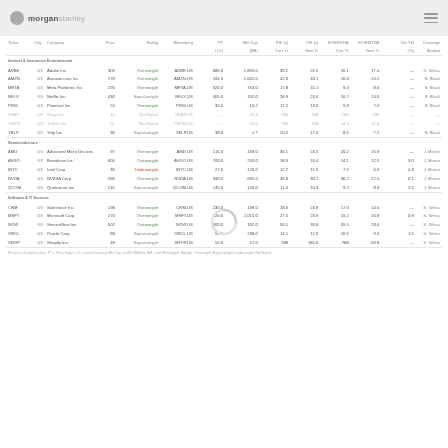morgan stanley
|  |  |  |  |  |  |  |  |  |  |
| --- | --- | --- | --- | --- | --- | --- | --- | --- | --- |
| Equity |  | 300% | 1yr |  | Dividend Growth | 3yrGr | Covered |  |
| ADBE | US | Adobe Inc. | 309 | Overweight | ADBE.US | 686.0 | 1,895.0 |  |
| AAPL | US | Apple Inc. | 160 | Equal-weight | AAPL.US | 195.2 | 3,050.0 |  |
| MSFT | US | Microsoft Corp | 380 | Overweight | MSFT.US | 415.0 | 3,000.0 |  |
| AMZN | US | Amazon.com Inc. | 180 | Overweight | AMZN.US | 194.0 |  |  |
| GOOGL | US | Alphabet Inc. | 160 | Overweight | GOOGL.US | 175.5 |  |  |